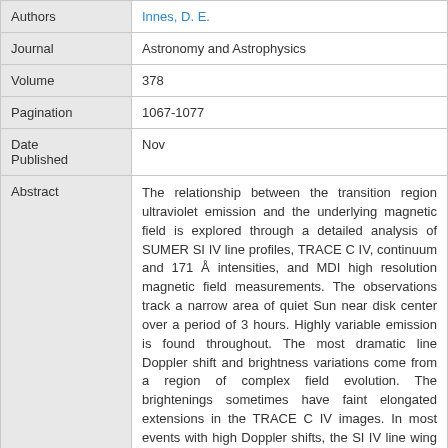| Field | Value |
| --- | --- |
| Authors | Innes, D. E. |
| Journal | Astronomy and Astrophysics |
| Volume | 378 |
| Pagination | 1067-1077 |
| Date Published | Nov |
| Abstract | The relationship between the transition region ultraviolet emission and the underlying magnetic field is explored through a detailed analysis of SUMER SI IV line profiles, TRACE C IV, continuum and 171 Å intensities, and MDI high resolution magnetic field measurements. The observations track a narrow area of quiet Sun near disk center over a period of 3 hours. Highly variable emission is found throughout. The most dramatic line Doppler shift and brightness variations come from a region of complex field evolution. The brightenings sometimes have faint elongated extensions in the TRACE C IV images. In most events with high Doppler shifts, the SI IV line wing reveals plasma flow 1-2 min before the line core brightens which suggests that plasma acceleration precedes plasma compression and/or |